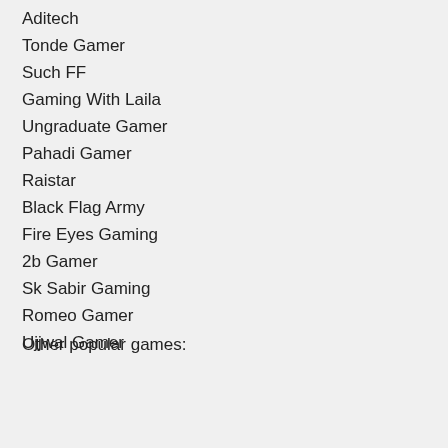Aditech
Tonde Gamer
Such FF
Gaming With Laila
Ungraduate Gamer
Pahadi Gamer
Raistar
Black Flag Army
Fire Eyes Gaming
2b Gamer
Sk Sabir Gaming
Romeo Gamer
Ujjwal Gamer
Other popular games: